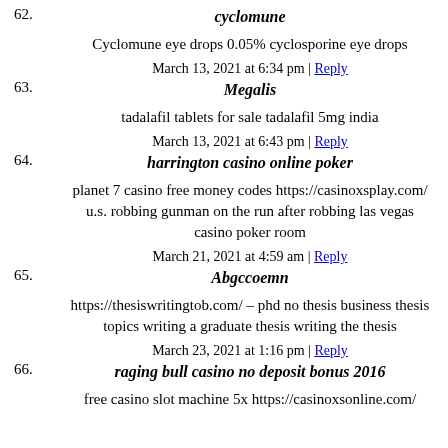62. cyclomune
Cyclomune eye drops 0.05% cyclosporine eye drops
March 13, 2021 at 6:34 pm | Reply
63. Megalis
tadalafil tablets for sale tadalafil 5mg india
March 13, 2021 at 6:43 pm | Reply
64. harrington casino online poker
planet 7 casino free money codes https://casinoxsplay.com/ u.s. robbing gunman on the run after robbing las vegas casino poker room
March 21, 2021 at 4:59 am | Reply
65. Abgccoemn
https://thesiswritingtob.com/ – phd no thesis business thesis topics writing a graduate thesis writing the thesis
March 23, 2021 at 1:16 pm | Reply
66. raging bull casino no deposit bonus 2016
free casino slot machine 5x https://casinoxsonline.com/